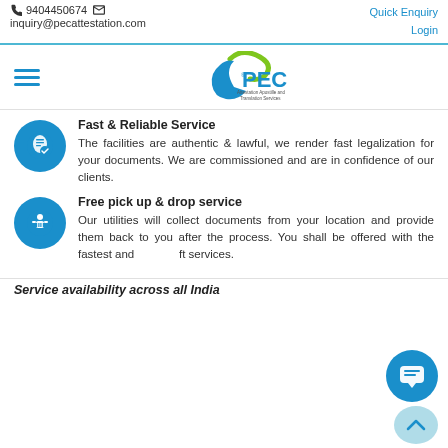9404450674  inquiry@pecattestation.com  Quick Enquiry  Login
[Figure (logo): PEC logo with green swoosh and text 'Attestation Apostille and Translation Services']
Fast & Reliable Service
The facilities are authentic & lawful, we render fast legalization for your documents. We are commissioned and are in confidence of our clients.
Free pick up & drop service
Our utilities will collect documents from your location and provide them back to you after the process. You shall be offered with the fastest and swift services.
Service availability across all India